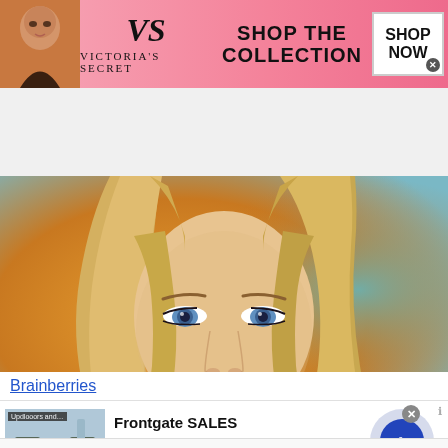[Figure (infographic): Victoria's Secret advertisement banner with model, VS logo, 'SHOP THE COLLECTION' text, and 'SHOP NOW' button on pink background]
[Figure (photo): Close-up portrait of a young blonde woman with blue eyes and long straight blonde hair, looking directly at camera with orange/warm background]
Brainberries
[Figure (infographic): Frontgate SALES advertisement: '20% off sitewide plus free shipping from August 19-22', frontgate.com, with outdoor furniture image and blue arrow button]